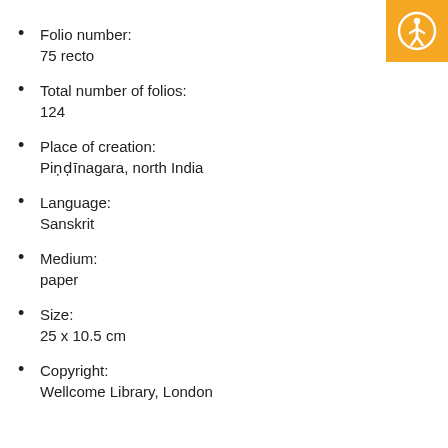Folio number:
75 recto
Total number of folios:
124
Place of creation:
Piṇḍīnagara, north India
Language:
Sanskrit
Medium:
paper
Size:
25 x 10.5 cm
Copyright:
Wellcome Library, London
[Figure (logo): Orange square badge with white accessibility icon (person in circle)]